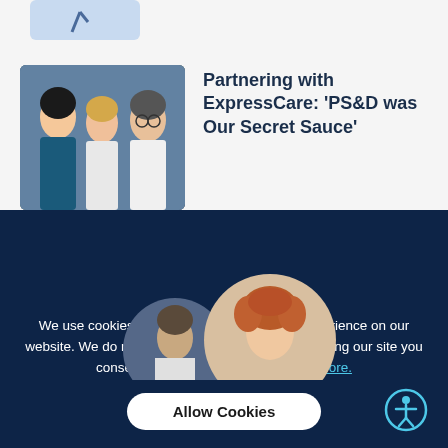[Figure (photo): Thumbnail/card image at top, light blue background with partial figure visible]
[Figure (photo): Photo of three healthcare professionals smiling together, including a woman in scrubs, a blonde woman, and an older man in a white coat]
Partnering with ExpressCare: ‘PS&D was Our Secret Sauce’
[Figure (photo): Dark navy section with two circular portrait photos of people, partially visible]
We use cookies to deliver the best possible experience on our website. We do not sell personal information. By using our site you consent to our use of cookies. Learn more.
Allow Cookies